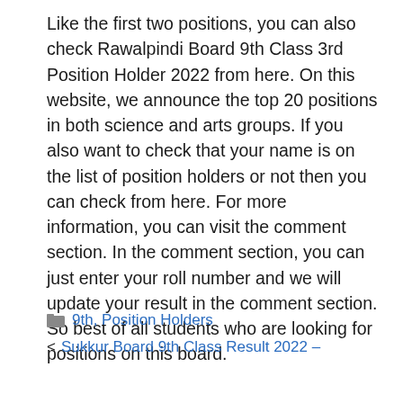Like the first two positions, you can also check Rawalpindi Board 9th Class 3rd Position Holder 2022 from here. On this website, we announce the top 20 positions in both science and arts groups. If you also want to check that your name is on the list of position holders or not then you can check from here. For more information, you can visit the comment section. In the comment section, you can just enter your roll number and we will update your result in the comment section. So best of all students who are looking for positions on this board.
9th, Position Holders
Sukkur Board 9th Class Result 2022 –